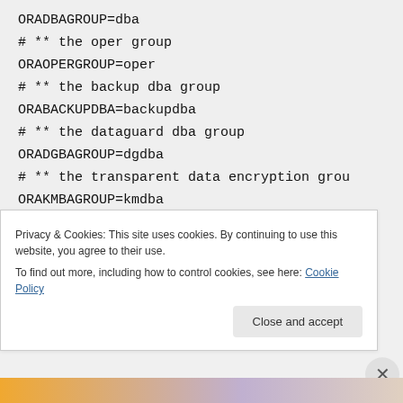ORADBAGROUP=dba
# ** the oper group
ORAOPERGROUP=oper
# ** the backup dba group
ORABACKUPDBA=backupdba
# ** the dataguard dba group
ORADGBAGROUP=dgdba
# ** the transparent data encryption grou
ORAKMBAGROUP=kmdba
Privacy & Cookies: This site uses cookies. By continuing to use this website, you agree to their use.
To find out more, including how to control cookies, see here: Cookie Policy